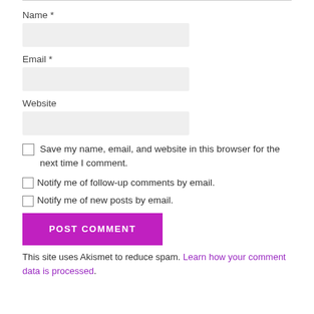Name *
Email *
Website
Save my name, email, and website in this browser for the next time I comment.
Notify me of follow-up comments by email.
Notify me of new posts by email.
POST COMMENT
This site uses Akismet to reduce spam. Learn how your comment data is processed.